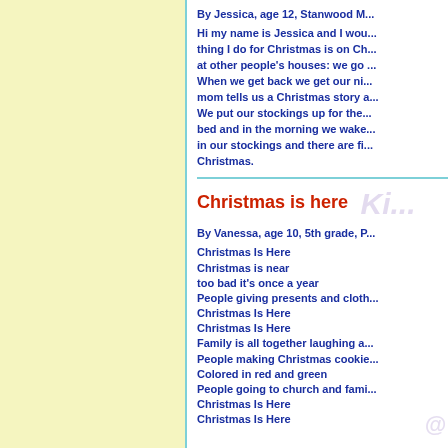By Jessica, age 12, Stanwood M...
Hi my name is Jessica and I wou... thing I do for Christmas is on Ch... at other people's houses: we go ... When we get back we get our ni... mom tells us a Christmas story a... We put our stockings up for the... bed and in the morning we wake... in our stockings and there are fi... Christmas.
Christmas is here
By Vanessa, age 10, 5th grade, P...
Christmas Is Here
Christmas is near
too bad it's once a year
People giving presents and cloth...
Christmas Is Here
Christmas Is Here
Family is all together laughing a...
People making Christmas cookie...
Colored in red and green
People going to church and fami...
Christmas Is Here
Christmas Is Here